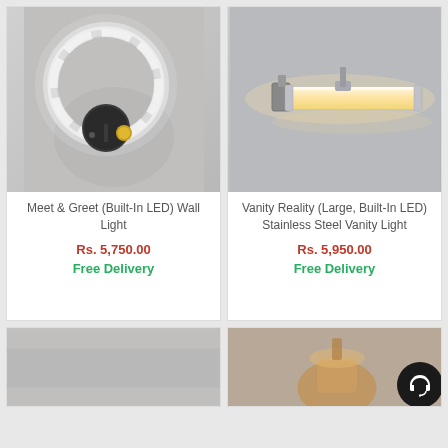[Figure (photo): LED ring wall light mounted on a dark circular base against a gray wall]
Meet & Greet (Built-In LED) Wall Light
Rs. 5,750.00
Free Delivery
[Figure (photo): Horizontal LED bar vanity light in stainless steel/chrome finish against a gray wall]
Vanity Reality (Large, Built-In LED) Stainless Steel Vanity Light
Rs. 5,950.00
Free Delivery
[Figure (photo): Partial bottom-left product image on gray background]
[Figure (photo): Partial bottom-right product image showing a decorative lamp with amber/brown elements, with a headset customer support button overlay]